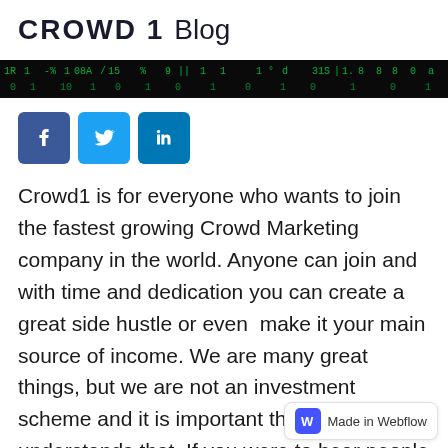CROWD 1 Blog
[Figure (photo): Dark banner image showing matrix-style green text/numbers on a black background]
[Figure (infographic): Social media share icons: Facebook (blue f), Twitter (light blue bird), LinkedIn (blue in)]
Crowd1 is for everyone who wants to join the fastest growing Crowd Marketing company in the world. Anyone can join and with time and dedication you can create a great side hustle or even  make it your main source of income. We are many great things, but we are not an investment scheme and it is important that everyone understands that. If you were to hear people talking about Crowd1 being an investment, please be cautious. The unfortunately, been cases of dishonest people